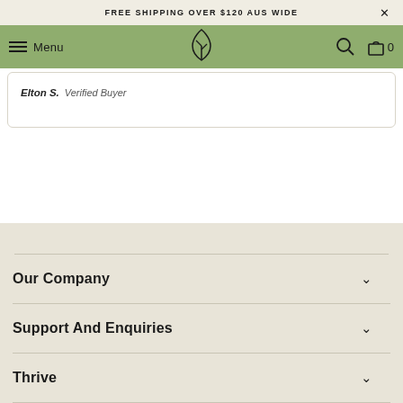FREE SHIPPING OVER $120 AUS WIDE
Menu
Elton S.  Verified Buyer
Our Company
Support And Enquiries
Thrive